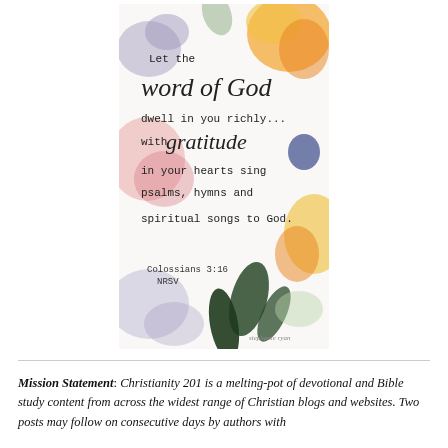[Figure (illustration): Watercolor floral illustration with a scripture quote: 'Let the word of God dwell in you richly... with gratitude in your hearts sing psalms, hymns and spiritual songs to God. Colossians 3:16 NRSV']
Mission Statement: Christianity 201 is a melting-pot of devotional and Bible study content from across the widest range of Christian blogs and websites. Two posts may follow on consecutive days by authors with